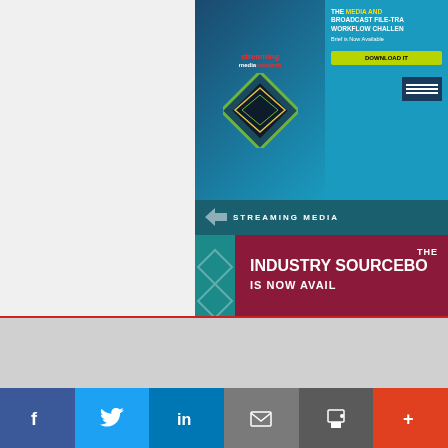[Figure (screenshot): Streaming Media Research banner ad with diamond graphic and download button for Broadcast File-Transfer Workflow Challenges brief]
[Figure (screenshot): Streaming Media Industry Sourcebook is Now Available banner with teal header and dark red background]
[Figure (screenshot): Streaming Media Connect 2022 conference banner, August 23-25 2022, Free Online, Discover More]
[Figure (screenshot): Content Delivery Summit banner, Networks Edges and Orchestration, November 2022, Hot Topics]
f  Twitter  in  email  print  +